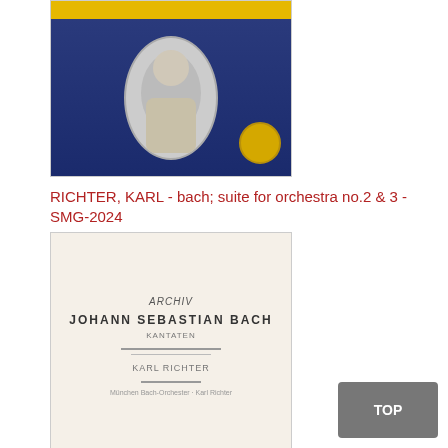[Figure (photo): Album cover for RICHTER KARL - bach suite for orchestra no.2 & 3, dark blue background with portrait, yellow Deutsche Grammophon header]
RICHTER, KARL - bach; suite for orchestra no.2 & 3 - SMG-2024
[Figure (photo): Album cover for RICHTER KARL - bach kantate bwv147 bwv60, cream/beige background with text, Johann Sebastian Bach]
RICHTER, KARL - bach;kantate bwv147, bwv60 - 198331
[Figure (photo): Album cover for ROSTROPOVITSCH MSTISLAV - dvorak concerto for violoncello, dark background with performer photo, yellow Deutsche Grammophon header, green spine]
ROSTROPOVITSCH, MSTISLAV - dvorak; concerto for violoncello & orchestra in b minor - MG-2118
[Figure (photo): Partial album cover for Rubinstein - Piano Concerto, dark background with yellow Deutsche Grammophon header]
TOP